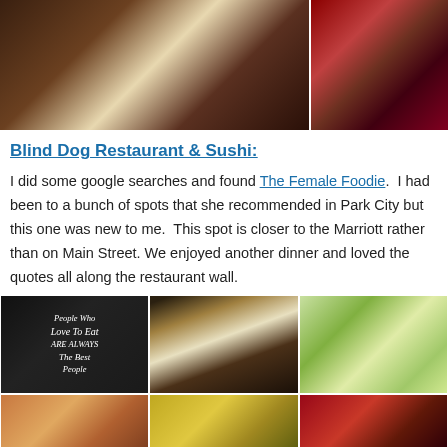[Figure (photo): Two food photos at top: left shows a meat dish on a white plate, right shows a red-sauced dish]
Blind Dog Restaurant & Sushi:
I did some google searches and found The Female Foodie.  I had been to a bunch of spots that she recommended in Park City but this one was new to me.  This spot is closer to the Marriott rather than on Main Street. We enjoyed another dinner and loved the quotes all along the restaurant wall.
[Figure (photo): Six food photos in a grid: chalkboard sign reading 'People Who Love To Eat ARE ALWAYS The Best People', sushi rolls, veggie/cucumber appetizer, and three more food dishes at bottom]